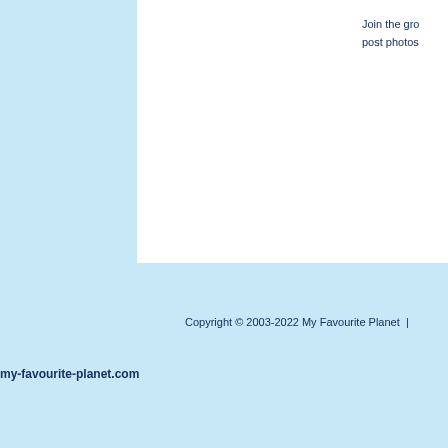Join the gro
post photos
Copyright © 2003-2022 My Favourite Planet  |
my-favourite-planet.com